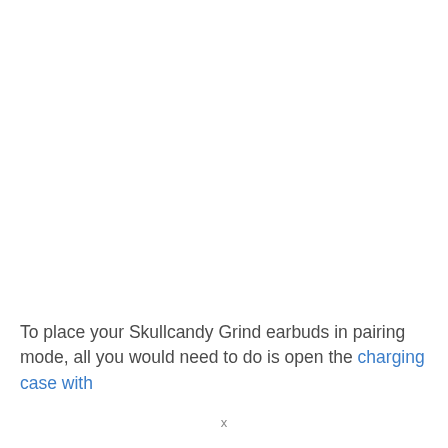To place your Skullcandy Grind earbuds in pairing mode, all you would need to do is open the charging case with
x